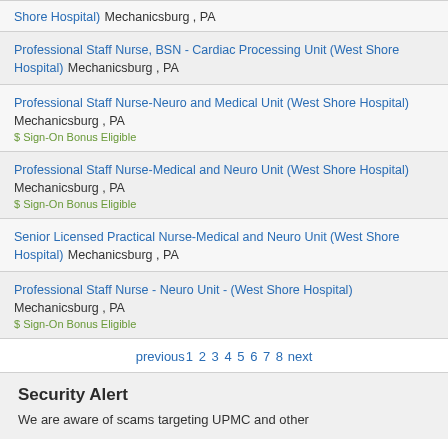Shore Hospital) Mechanicsburg , PA
Professional Staff Nurse, BSN - Cardiac Processing Unit (West Shore Hospital) Mechanicsburg , PA
Professional Staff Nurse-Neuro and Medical Unit (West Shore Hospital) Mechanicsburg , PA $ Sign-On Bonus Eligible
Professional Staff Nurse-Medical and Neuro Unit (West Shore Hospital) Mechanicsburg , PA $ Sign-On Bonus Eligible
Senior Licensed Practical Nurse-Medical and Neuro Unit (West Shore Hospital) Mechanicsburg , PA
Professional Staff Nurse - Neuro Unit - (West Shore Hospital) Mechanicsburg , PA $ Sign-On Bonus Eligible
previous 1 2 3 4 5 6 7 8 next
Security Alert
We are aware of scams targeting UPMC and other